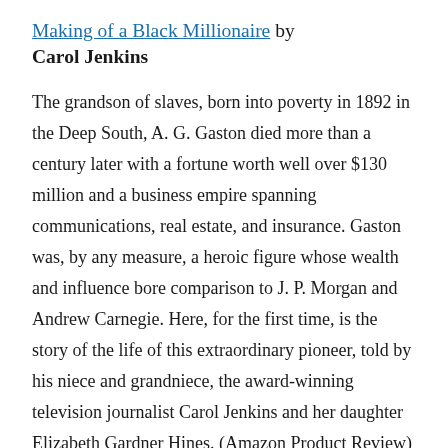Making of a Black Millionaire by Carol Jenkins
The grandson of slaves, born into poverty in 1892 in the Deep South, A. G. Gaston died more than a century later with a fortune worth well over $130 million and a business empire spanning communications, real estate, and insurance. Gaston was, by any measure, a heroic figure whose wealth and influence bore comparison to J. P. Morgan and Andrew Carnegie. Here, for the first time, is the story of the life of this extraordinary pioneer, told by his niece and grandniece, the award-winning television journalist Carol Jenkins and her daughter Elizabeth Gardner Hines. (Amazon Product Review)
3. The Mis-Education of the Negro by Carter Godwin Wilson